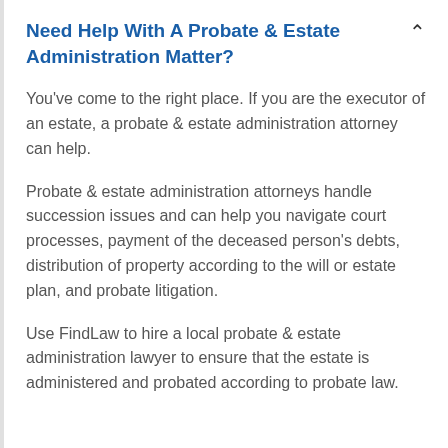Need Help With A Probate & Estate Administration Matter?
You've come to the right place. If you are the executor of an estate, a probate & estate administration attorney can help.
Probate & estate administration attorneys handle succession issues and can help you navigate court processes, payment of the deceased person's debts, distribution of property according to the will or estate plan, and probate litigation.
Use FindLaw to hire a local probate & estate administration lawyer to ensure that the estate is administered and probated according to probate law.